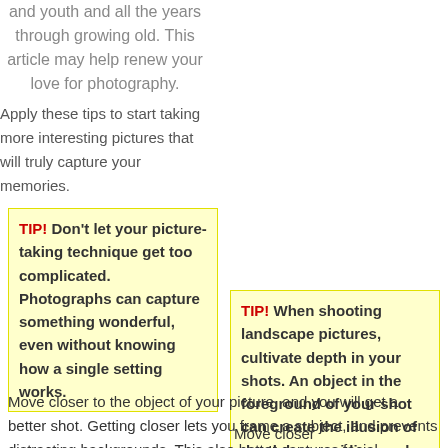captured the innocence and youth and all the years through growing old. This article may help renew your love for photography. Apply these tips to start taking more interesting pictures that will truly capture your memories.
TIP! Don't let your picture-taking technique get too complicated. Photographs can capture something wonderful, even without knowing how a single setting works.
TIP! When shooting landscape pictures, cultivate depth in your shots. An object in the foreground of your shot can create the illusion of depth by providing scale.
Move closer to the object of your picture, and you will get a better shot. Getting closer lets you frame a subject, and prevents distracting backgrounds. This also better captures facial expression, which is very important in portrait photography. By being too far away from your subject, you often miss the minuscule details that can make a picture truly great.